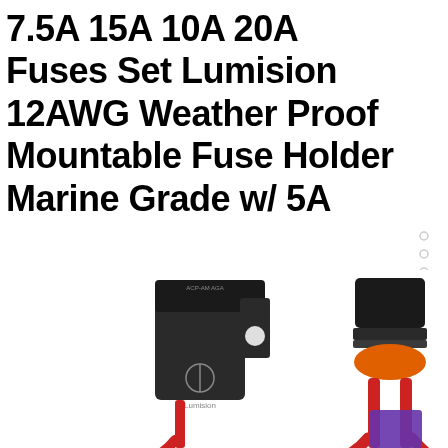7.5A 15A 10A 20A Fuses Set Lumision 12AWG Weather Proof Mountable Fuse Holder Marine Grade w/ 5A
[Figure (photo): Product photo showing two black weatherproof marine-grade fuse holders. The left one is a rectangular black plastic mountable fuse holder with a circular mounting hole and a Lumision logo. The right one is a sealed connector with an orange grommet and red wires. Background is white.]